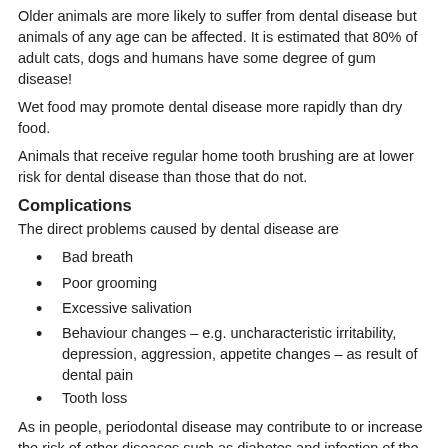Older animals are more likely to suffer from dental disease but animals of any age can be affected. It is estimated that 80% of adult cats, dogs and humans have some degree of gum disease!
Wet food may promote dental disease more rapidly than dry food.
Animals that receive regular home tooth brushing are at lower risk for dental disease than those that do not.
Complications
The direct problems caused by dental disease are
Bad breath
Poor grooming
Excessive salivation
Behaviour changes – e.g. uncharacteristic irritability, depression, aggression, appetite changes – as result of dental pain
Tooth loss
As in people, periodontal disease may contribute to or increase the risk of other diseases such as diabetes and infection of the heart, lungs, liver or kidneys.
Diagnosis